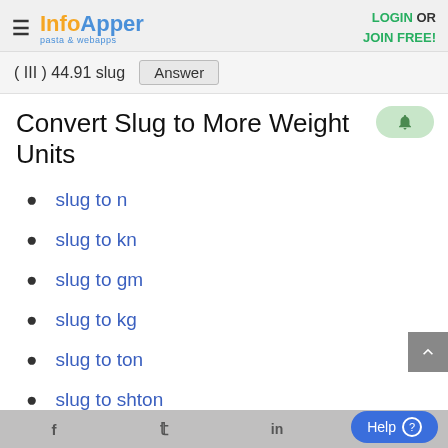InfoApper pasta & webapps | LOGIN OR JOIN FREE!
( III ) 44.91 slug   Answer
Convert Slug to More Weight Units
slug to n
slug to kn
slug to gm
slug to kg
slug to ton
slug to shton
slug to lton